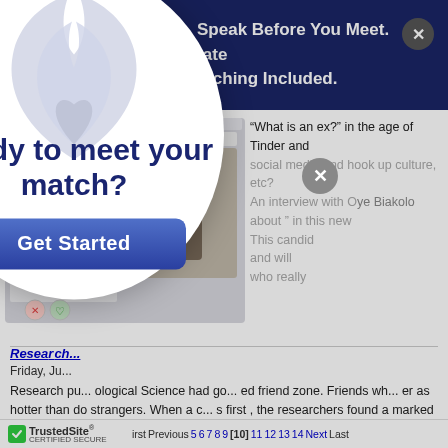See Verified Photos. Speak Before You Meet. Date Feedback & Coaching Included.
[Figure (screenshot): Tinder app screenshot showing two women and app UI with swipe buttons]
“What is an ex?” in the age of Tinder and social media and hook up culture, etc? An interview with Oye Biakolo about ” in this new This candid and will who really
Resea... ...ne
Friday, Ju...
Research pu... ological Science had go... ed friend zone. Friends wh... er as hotter than do strangers. When a c... s first , the researchers found a marked similarity in a par...
Continue Reading
[Figure (other): Dating site modal popup with flame logo, 'Ready to meet your match?' title and Get Started button]
TrustedSite CERTIFIED SECURE  First  Previous  5  6  7  8  9  [10]  11  12  13  14  Next  Last